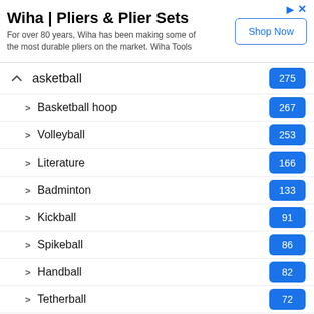[Figure (screenshot): Advertisement banner for Wiha Pliers & Plier Sets with Shop Now button]
Basketball - 275
Basketball hoop - 267
Volleyball - 253
Literature - 166
Badminton - 133
Kickball - 91
Spikeball - 86
Handball - 82
Tetherball - 72
Cycling - 6
Archery - 5